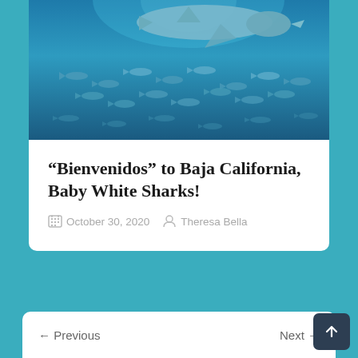[Figure (photo): Underwater photo of a shark swimming above a school of fish in blue ocean water]
“Bienvenidos” to Baja California, Baby White Sharks!
October 30, 2020  Theresa Bella
[Figure (other): Partially visible white card with teal background, second article card]
← Previous
Next →